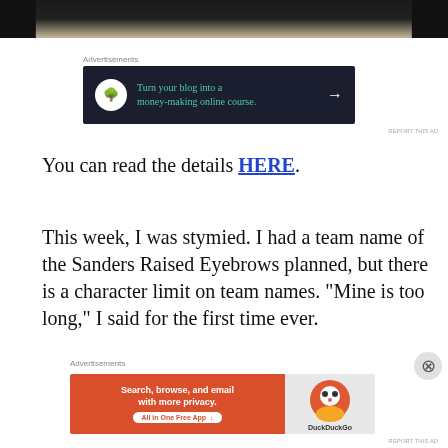[Figure (photo): Partial photo of a person's face/upper body at the top of the page, mostly dark/black]
Advertisements
[Figure (other): Advertisement banner: dark navy background with white circle icon (tree/bonsai), green text reading 'Turn your blog into a money-making online course.' with white arrow]
REPORT THIS AD
You can read the details HERE.
This week, I was stymied. I had a team name of the Sanders Raised Eyebrows planned, but there is a character limit on team names. "Mine is too long," I said for the first time ever.
Advertisements
[Figure (other): Advertisement banner for DuckDuckGo: orange background on left with text 'Search, browse, and email with more privacy. All in One Free App', right side grey with DuckDuckGo logo]
REPORT THIS AD